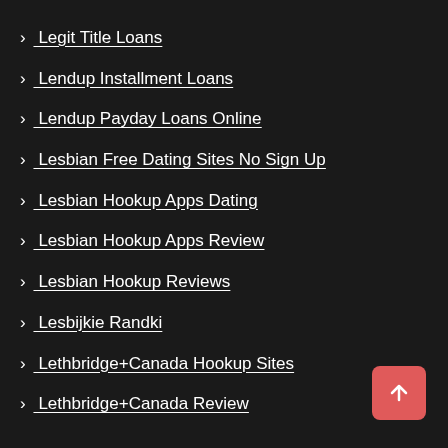> Legit Title Loans
> Lendup Installment Loans
> Lendup Payday Loans Online
> Lesbian Free Dating Sites No Sign Up
> Lesbian Hookup Apps Dating
> Lesbian Hookup Apps Review
> Lesbian Hookup Reviews
> Lesbijkie Randki
> Lethbridge+Canada Hookup Sites
> Lethbridge+Canada Review